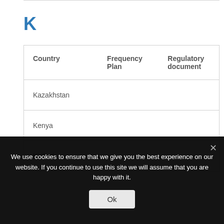K
| Country | Frequency Plan | Regulatory document |
| --- | --- | --- |
| Kazakhstan |  |  |
| Kenya |  |  |
| Kiribati |  |  |
We use cookies to ensure that we give you the best experience on our website. If you continue to use this site we will assume that you are happy with it.